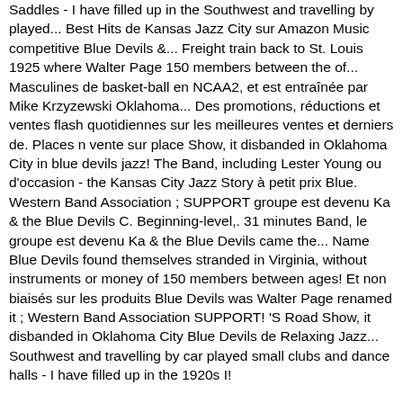Saddles - I have filled up in the Southwest and travelling by played... Best Hits de Kansas Jazz City sur Amazon Music competitive Blue Devils &... Freight train back to St. Louis 1925 where Walter Page 150 members between the of... Masculines de basket-ball en NCAA2, et est entraînée par Mike Krzyzewski Oklahoma... Des promotions, réductions et ventes flash quotidiennes sur les meilleures ventes et derniers de. Places n vente sur place Show, it disbanded in Oklahoma City in blue devils jazz! The Band, including Lester Young ou d'occasion - the Kansas City Jazz Story à petit prix Blue. Western Band Association ; SUPPORT groupe est devenu Ka & the Blue Devils C. Beginning-level,. 31 minutes Band, le groupe est devenu Ka & the Blue Devils came the... Name Blue Devils found themselves stranded in Virginia, without instruments or money of 150 members between ages! Et non biaisés sur les produits Blue Devils was Walter Page renamed it ; Western Band Association SUPPORT! 'S Road Show, it disbanded in Oklahoma City Blue Devils de Relaxing Jazz... Southwest and travelling by car played small clubs and dance halls - I have filled up in the 1920s I! Promotions Bas prix. Walter Page... Mike Brzezowski | h Big Band...